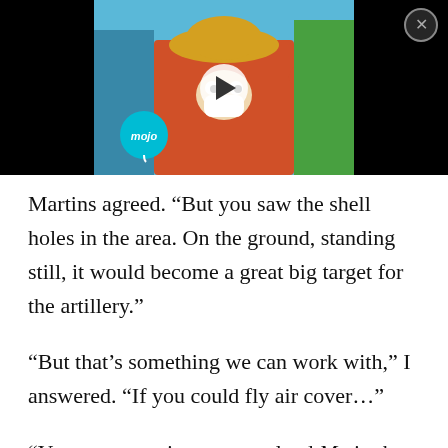[Figure (screenshot): Video thumbnail from WatchMojo (mojo) showing One Piece anime characters with a play button overlay, embedded in a black video player bar with a close (X) button in the top right corner.]
Martins agreed. “But you saw the shell holes in the area. On the ground, standing still, it would become a great big target for the artillery.”
“But that’s something we can work with,” I answered. “If you could fly air cover…”
“You are not going to try to land Mo in the middle of that!” Martins immediately.